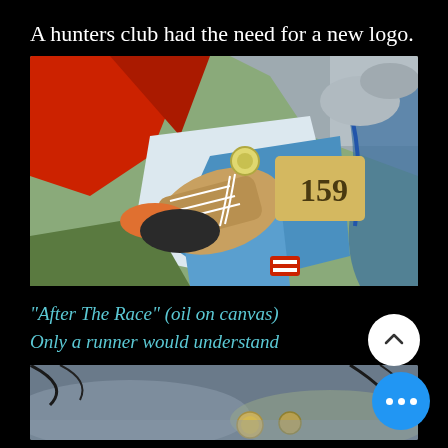A hunters club had the need for a new logo.
[Figure (photo): Oil painting showing running shoes and race gear after a race, with number 159 visible, colorful composition with red, blue, green, orange]
"After The Race" (oil on canvas)
Only a runner would understand
[Figure (photo): Partial view of a second image - dark grey/blue sky with tree branches and two circular coin-like objects visible at the bottom]